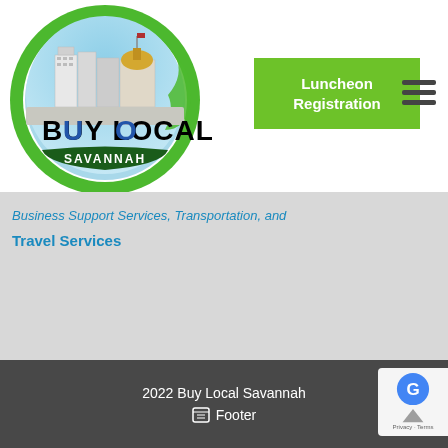[Figure (logo): Buy Local Savannah circular logo with city skyline illustration, green circular arrow, and blue/black BUY LOCAL text with SAVANNAH banner]
Luncheon Registration
[Figure (other): Hamburger menu icon with three horizontal lines]
Business Support Services, Transportation, and Travel Services
2022 Buy Local Savannah
Footer